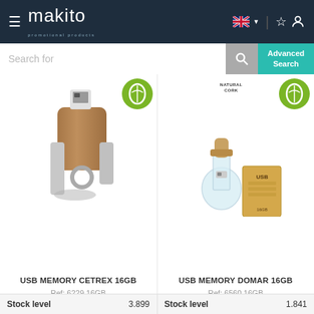[Figure (screenshot): Makito promotional products website header with hamburger menu, logo, UK flag language selector, and user icon]
[Figure (screenshot): Search bar with 'Search for' placeholder, magnifying glass button, and teal 'Advanced Search' button]
[Figure (photo): USB Memory Cetrex 16GB - wooden swivel USB flash drive with metal clip, shown open. Green eco leaf badge in top right corner.]
USB MEMORY CETREX 16GB
Ref: 6229 16GB
[Figure (photo): USB Memory Domar 16GB - USB drive shaped like a glass bottle with cork stopper, shown with kraft paper box. Green eco leaf badge top right. 'Natural Cork' badge.]
USB MEMORY DOMAR 16GB
Ref: 6560 16GB
| Stock level | 3.899 | Stock level | 1.841 |
| --- | --- | --- | --- |